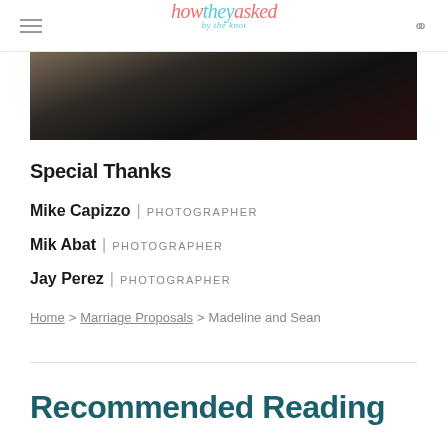how they asked by the knot
[Figure (photo): Partial photo strip showing dark toned image of shoes on stone pavement]
Special Thanks
Mike Capizzo | PHOTOGRAPHER
Mik Abat | PHOTOGRAPHER
Jay Perez | PHOTOGRAPHER
Home > Marriage Proposals > Madeline and Sean
Recommended Reading